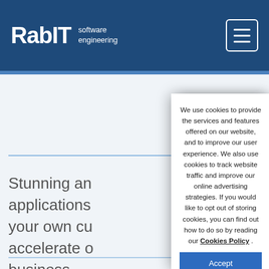RabIT software engineering
Stunning and powerful applications for your own custom accelerate our business.
We use cookies to provide the services and features offered on our website, and to improve our user experience. We also use cookies to track website traffic and improve our online advertising strategies. If you would like to opt out of storing cookies, you can find out how to do so by reading our Cookies Policy .
Accept
Cookie Settings